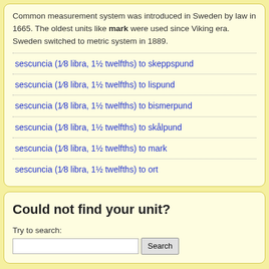Common measurement system was introduced in Sweden by law in 1665. The oldest units like mark were used since Viking era. Sweden switched to metric system in 1889.
sescuncia (1⁄8 libra, 1½ twelfths) to skeppspund
sescuncia (1⁄8 libra, 1½ twelfths) to lispund
sescuncia (1⁄8 libra, 1½ twelfths) to bismerpund
sescuncia (1⁄8 libra, 1½ twelfths) to skålpund
sescuncia (1⁄8 libra, 1½ twelfths) to mark
sescuncia (1⁄8 libra, 1½ twelfths) to ort
Could not find your unit?
Try to search: